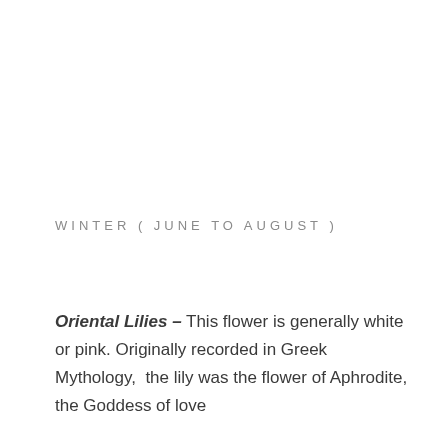WINTER ( JUNE TO AUGUST )
Oriental Lilies – This flower is generally white or pink. Originally recorded in Greek Mythology,  the lily was the flower of Aphrodite, the Goddess of love